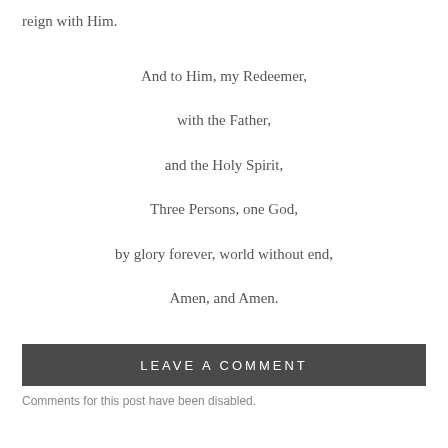reign with Him.
And to Him, my Redeemer,
with the Father,
and the Holy Spirit,
Three Persons, one God,
by glory forever, world without end,
Amen, and Amen.
LEAVE A COMMENT
Comments for this post have been disabled.